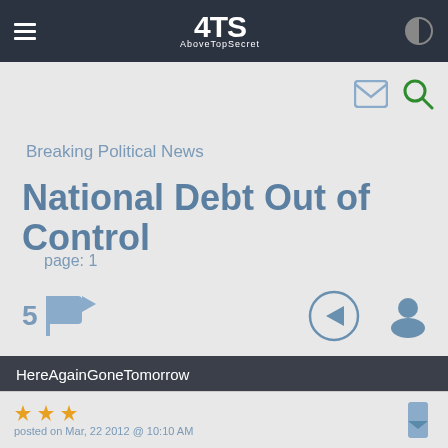ATS AboveTopSecret
Breaking Political News
National Debt Out of Control
page: 1
5
<< 1 2 3 >>
share
HereAgainGoneTomorrow
posted on Mar, 22 2012 @ 10:10 AM